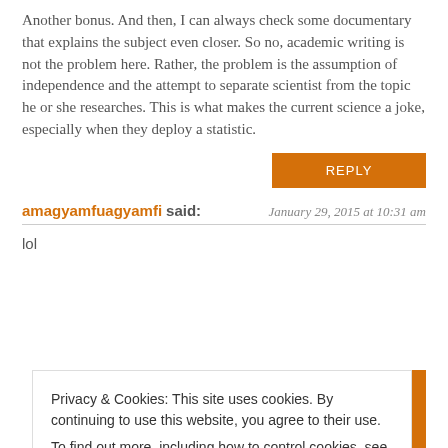Another bonus. And then, I can always check some documentary that explains the subject even closer. So no, academic writing is not the problem here. Rather, the problem is the assumption of independence and the attempt to separate scientist from the topic he or she researches. This is what makes the current science a joke, especially when they deploy a statistic.
REPLY
amagyamfuagyamfi said: January 29, 2015 at 10:31 am
lol
REPLY
Privacy & Cookies: This site uses cookies. By continuing to use this website, you agree to their use.
To find out more, including how to control cookies, see here: Cookie Policy
Close and accept
REPLY